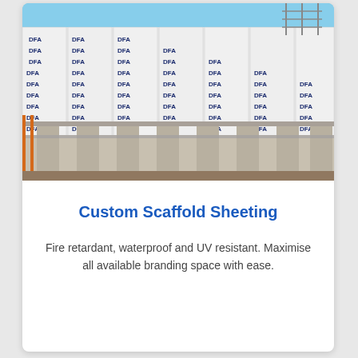[Figure (photo): Construction building covered in white scaffold sheeting printed with repeating 'DFA' branding in dark blue text. Concrete columns and structure visible underneath. Blue sky in background.]
Custom Scaffold Sheeting
Fire retardant, waterproof and UV resistant. Maximise all available branding space with ease.